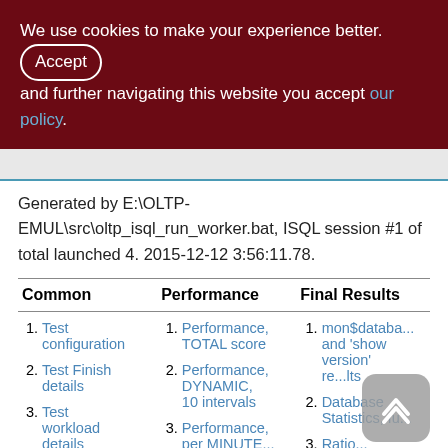We use cookies to make your experience better. By accepting and further navigating this website you accept our policy.
Generated by E:\OLTP-EMUL\src\oltp_isql_run_worker.bat, ISQL session #1 of total launched 4. 2015-12-12 3:56:11.78.
| Common | Performance | Final Results |
| --- | --- | --- |
| Test configuration | Performance, TOTAL score | mon$databa... and 'show version' re...lts |
| Test Finish details | Performance, DYNAMIC, 10 intervals | Database Statistics, fu... |
| Test workload details | Performance, per MINUTE... | Ratio... |